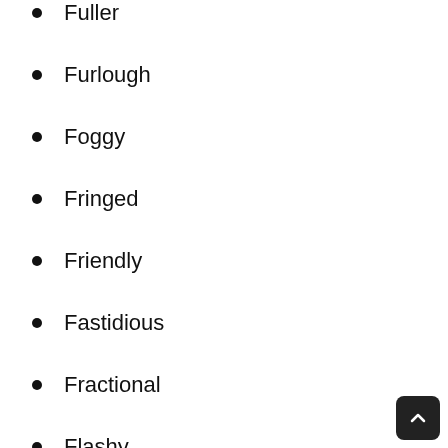Fuller
Furlough
Foggy
Fringed
Friendly
Fastidious
Fractional
Flashy
Frugal
Funny
Fabulously
Frivolous
Fearful
Fretful
Fragmentary